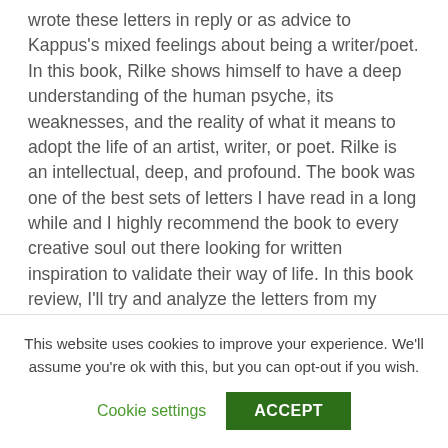wrote these letters in reply or as advice to Kappus's mixed feelings about being a writer/poet. In this book, Rilke shows himself to have a deep understanding of the human psyche, its weaknesses, and the reality of what it means to adopt the life of an artist, writer, or poet. Rilke is an intellectual, deep, and profound. The book was one of the best sets of letters I have read in a long while and I highly recommend the book to every creative soul out there looking for written inspiration to validate their way of life. In this book review, I'll try and analyze the letters from my perspective and try to bring out certain parts of the letters that touched my heart.
This website uses cookies to improve your experience. We'll assume you're ok with this, but you can opt-out if you wish.
Cookie settings   ACCEPT